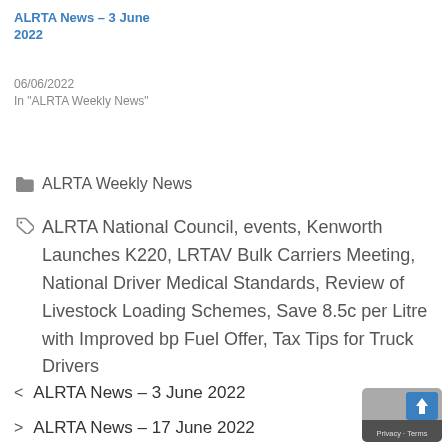ALRTA News – 3 June 2022
06/06/2022
In "ALRTA Weekly News"
ALRTA Weekly News
ALRTA National Council, events, Kenworth Launches K220, LRTAV Bulk Carriers Meeting, National Driver Medical Standards, Review of Livestock Loading Schemes, Save 8.5c per Litre with Improved bp Fuel Offer, Tax Tips for Truck Drivers
< ALRTA News – 3 June 2022
> ALRTA News – 17 June 2022